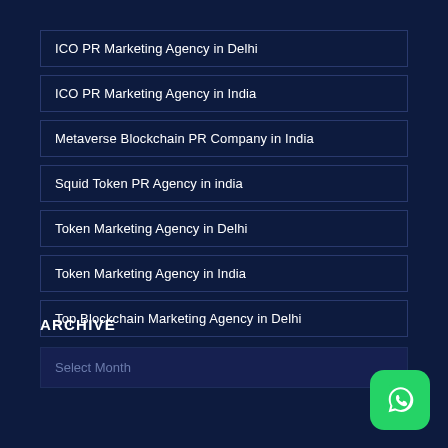ICO PR Marketing Agency in Delhi
ICO PR Marketing Agency in India
Metaverse Blockchain PR Company in India
Squid Token PR Agency in india
Token Marketing Agency in Delhi
Token Marketing Agency in India
Top Blockchain Marketing Agency in Delhi
ARCHIVE
Select Month